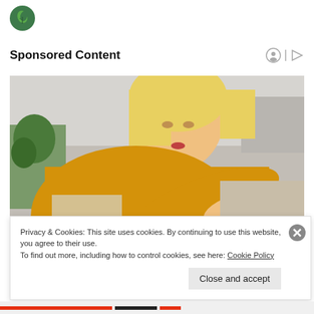[Figure (logo): Green circular logo with leaf/plant icon]
Sponsored Content
[Figure (photo): Blonde woman in yellow knit sweater looking at her arm/wrist, seated on a couch, possibly examining a skin condition]
Privacy & Cookies: This site uses cookies. By continuing to use this website, you agree to their use.
To find out more, including how to control cookies, see here: Cookie Policy
Close and accept